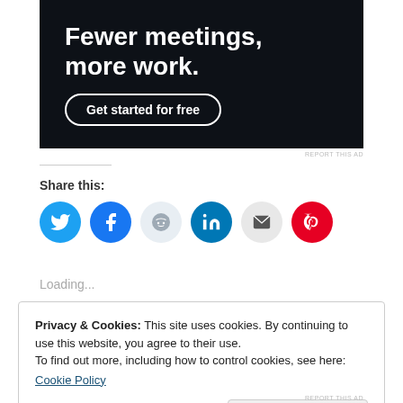[Figure (other): Advertisement banner with dark background showing text 'Fewer meetings, more work.' and a 'Get started for free' button]
REPORT THIS AD
Share this:
[Figure (other): Social share icons: Twitter (blue), Facebook (blue), Reddit (light blue), LinkedIn (teal), Email (grey), Pinterest (red)]
Loading...
Privacy & Cookies: This site uses cookies. By continuing to use this website, you agree to their use.
To find out more, including how to control cookies, see here:
Cookie Policy
Close and accept
REPORT THIS AD